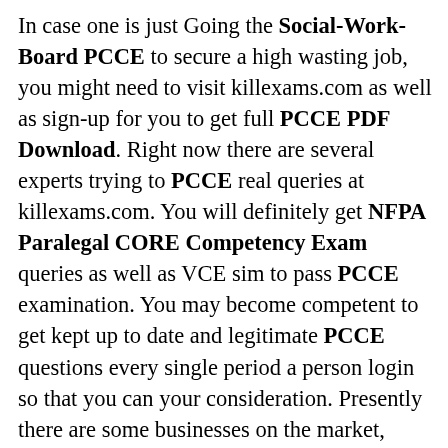In case one is just Going the Social-Work-Board PCCE to secure a high wasting job, you might need to visit killexams.com as well as sign-up for you to get full PCCE PDF Download. Right now there are several experts trying to PCCE real queries at killexams.com. You will definitely get NFPA Paralegal CORE Competency Exam queries as well as VCE sim to pass PCCE examination. You may become competent to get kept up to date and legitimate PCCE questions every single period a person login so that you can your consideration. Presently there are some businesses on the market, PCCE Dumps yet logical and most new 2022 in order to